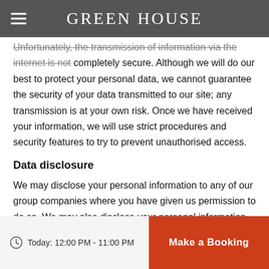GREEN HOUSE
Unfortunately, the transmission of information via the internet is not completely secure. Although we will do our best to protect your personal data, we cannot guarantee the security of your data transmitted to our site; any transmission is at your own risk. Once we have received your information, we will use strict procedures and security features to try to prevent unauthorised access.
Data disclosure
We may disclose your personal information to any of our group companies where you have given us permission to do so. We may also disclose your personal information to third parties when you have given permission to do so.
In the event that we sell or buy any business or assets, in which case
Today: 12:00 PM - 11:00 PM  Make a Booking